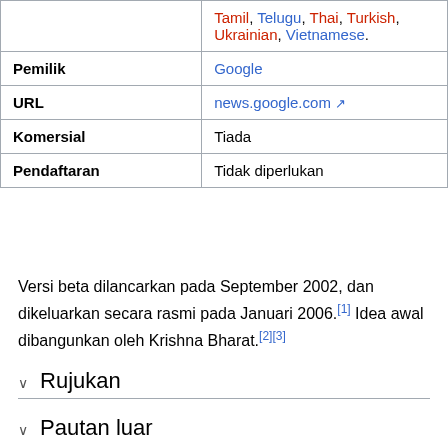| Label | Value |
| --- | --- |
|  | Tamil, Telugu, Thai, Turkish, Ukrainian, Vietnamese. |
| Pemilik | Google |
| URL | news.google.com |
| Komersial | Tiada |
| Pendaftaran | Tidak diperlukan |
Versi beta dilancarkan pada September 2002, dan dikeluarkan secara rasmi pada Januari 2006.[1] Idea awal dibangunkan oleh Krishna Bharat.[2][3]
Rujukan
Pautan luar